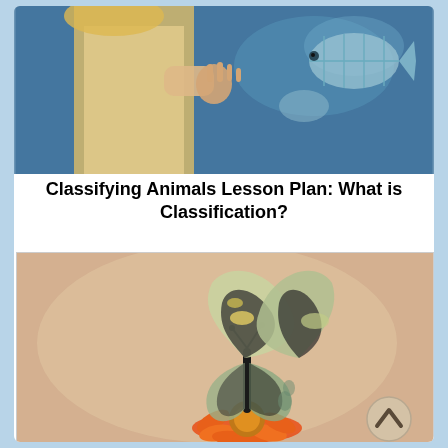[Figure (photo): Child in yellow dress pressing hand against aquarium glass with fish visible in blue water]
Classifying Animals Lesson Plan: What is Classification?
[Figure (photo): Large swallowtail butterfly with black and green wings perched on an orange flower against a warm beige background, with a circular back-navigation button in the lower right corner]